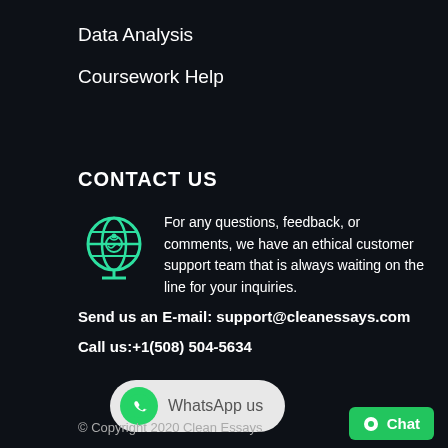Data Analysis
Coursework Help
CONTACT US
For any questions, feedback, or comments, we have an ethical customer support team that is always waiting on the line for your inquiries.
Send us an E-mail: support@cleanessays.com
Call us:+1(508) 504-5634
[Figure (other): WhatsApp us button with WhatsApp logo icon]
© Copyright 2020 Clean Essays
[Figure (other): Green Chat button]